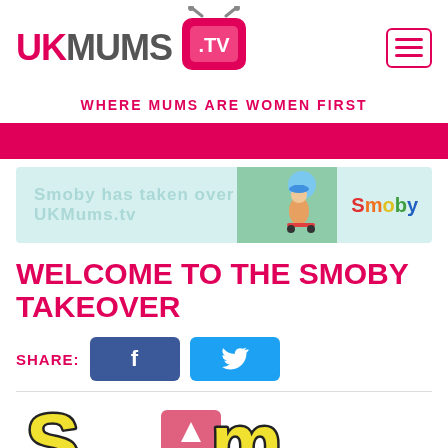[Figure (logo): UKMums.TV logo with pink TV icon and hamburger menu icon]
WHERE MUMS ARE WOMEN FIRST
[Figure (infographic): Pink horizontal banner bar]
[Figure (infographic): Smoby takeover banner showing child on toy and Smoby brand text]
WELCOME TO THE SMOBY TAKEOVER
SHARE:
[Figure (infographic): Facebook and Twitter share buttons]
[Figure (infographic): Smoby logo large letters at bottom of page]